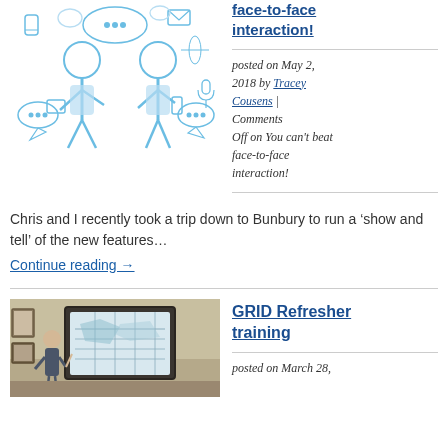[Figure (illustration): Line-art illustration of two people using mobile devices, surrounded by social media and communication icons (speech bubbles, envelopes, phone, globe, etc.) in light blue on white.]
face-to-face interaction!
posted on May 2, 2018 by Tracey Cousens | Comments Off on You can't beat face-to-face interaction!
Chris and I recently took a trip down to Bunbury to run a ‘show and tell’ of the new features...
Continue reading →
[Figure (photo): Photo of a person standing in front of a projected map/GIS display in a room with framed pictures on the wall.]
GRID Refresher training
posted on March 28,